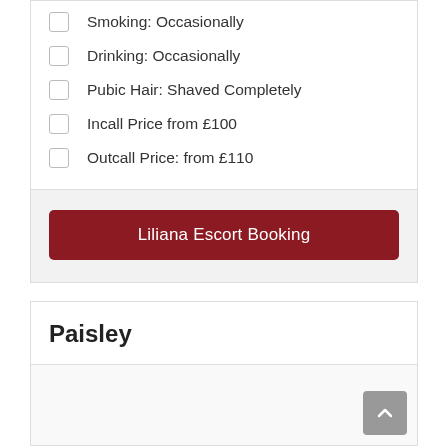Smoking: Occasionally
Drinking: Occasionally
Pubic Hair: Shaved Completely
Incall Price from £100
Outcall Price: from £110
Liliana Escort Booking
Paisley